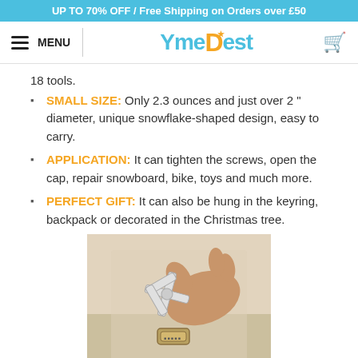UP TO 70% OFF / Free Shipping on Orders over £50
MENU | YmeBest | cart
18 tools.
SMALL SIZE: Only 2.3 ounces and just over 2 " diameter, unique snowflake-shaped design, easy to carry.
APPLICATION: It can tighten the screws, open the cap, repair snowboard, bike, toys and much more.
PERFECT GIFT: It can also be hung in the keyring, backpack or decorated in the Christmas tree.
[Figure (photo): Hand holding a small snowflake-shaped multi-tool device]
Our multi-tool features incredible 18 tools, flathead